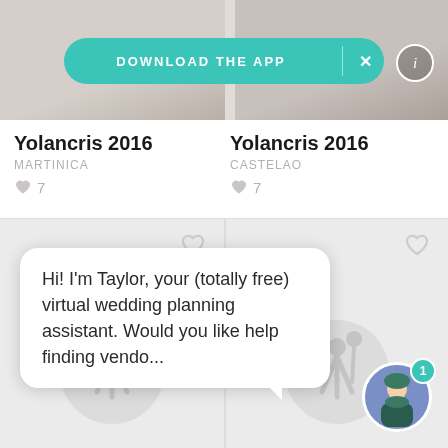[Figure (screenshot): App screenshot showing two wedding dress images at the top with a teal 'DOWNLOAD THE APP' banner overlay and an info button.]
Yolancris 2016
MARTINICA
♥ 7
Yolancris 2016
CASTELAO
♥ 7
[Figure (screenshot): Two placeholder cards with heart icons and floral/bouquet placeholder icons on grey backgrounds.]
Hi! I'm Taylor, your (totally free) virtual wedding planning assistant. Would you like help finding vendo...